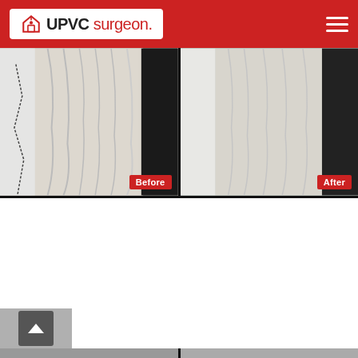[Figure (logo): UPVC Surgeon logo in white box on red header bar, with hamburger menu icon on the right]
[Figure (photo): Before and after comparison photos (top row): left shows cracked/damaged white UPVC window seal with a diagonal crack visible, curtains in background; right shows the same window repaired with no visible crack, curtains in background. 'Before' and 'After' red badge labels in bottom corners.]
[Figure (photo): Before and after comparison photos (bottom row): left shows a raised/broken UPVC window restrictor arm handle, close-up view; right shows the same window with a properly seated flat restrictor arm handle after repair, outdoor trees/field visible through window. UPVC Surgeon watermark logo in top right. 'Before' and 'After' red badge labels in bottom corners. Scroll-to-top button visible in bottom left corner.]